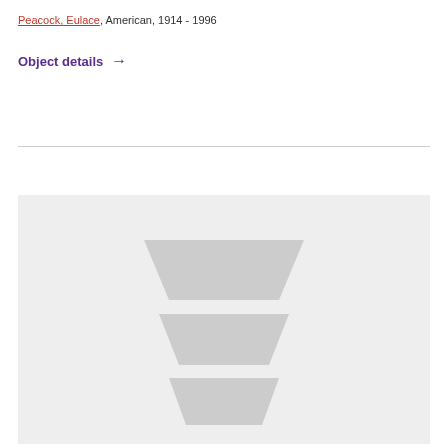Peacock, Eulace, American, 1914 - 1996
Object details →
[Figure (illustration): A light gray placeholder image containing a stacked trapezoid/downward-pointing arrow shape made of three overlapping trapezoids in slightly darker gray, representing an image placeholder icon on a light gray background.]